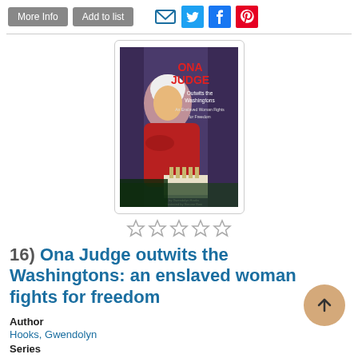More Info | Add to list | [social icons: email, twitter, facebook, pinterest]
[Figure (illustration): Book cover for 'Ona Judge Outwits the Washingtons: An Enslaved Woman Fights for Freedom' showing a painted illustration of a woman with a white head wrap and red garment, with a purple background and a white building at the bottom. Title text on cover reads: ONA JUDGE Outwits the Washingtons An Enslaved Woman Fights for Freedom]
[Figure (other): Five empty star rating icons]
16) Ona Judge outwits the Washingtons: an enslaved woman fights for freedom
Author
Hooks, Gwendolyn
Series
Encounter: Narrative nonfiction picture books
Encounter Narrative nonfiction picture books
Publisher
Capstone Editions
Pub. Date